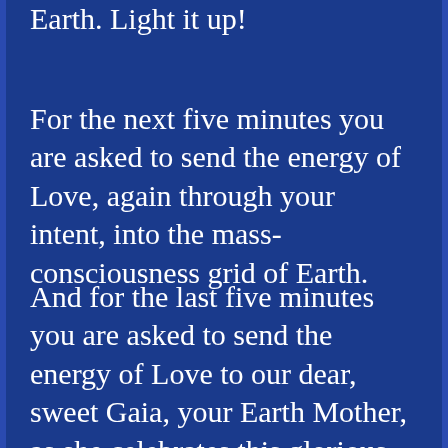Earth. Light it up!
For the next five minutes you are asked to send the energy of Love, again through your intent, into the mass-consciousness grid of Earth.
And for the last five minutes you are asked to send the energy of Love to our dear, sweet Gaia, your Earth Mother, as she celebrates this glorious season with you.